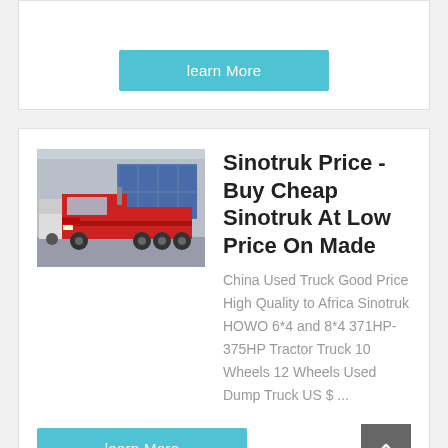[Figure (other): A cyan/sky-blue 'learn More' button at top of page]
[Figure (photo): A red Sinotruk HOWO tractor truck parked in a lot with industrial buildings in the background]
Sinotruk Price - Buy Cheap Sinotruk At Low Price On Made
China Used Truck Good Price High Quality to Africa Sinotruk HOWO 6*4 and 8*4 371HP-375HP Tractor Truck 10 Wheels 12 Wheels Used Dump Truck US $ ...
[Figure (other): A cyan/sky-blue 'learn More' button]
[Figure (other): A dark gray back-to-top arrow button]